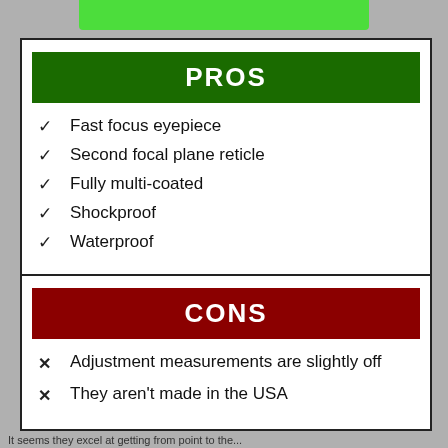PROS
Fast focus eyepiece
Second focal plane reticle
Fully multi-coated
Shockproof
Waterproof
CONS
Adjustment measurements are slightly off
They aren't made in the USA
It seems they excel at getting from point to the...